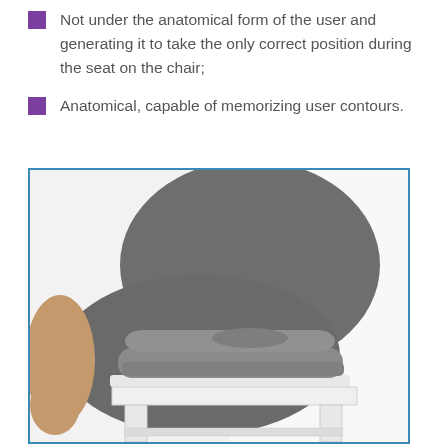Not under the anatomical form of the user and generating it to take the only correct position during the seat on the chair;
Anatomical, capable of memorizing user contours.
[Figure (photo): A person sitting down onto an anatomical memory foam seat cushion placed on a white chair. The cushion is gray and has a contoured shape with a central indent. The person is wearing gray clothing.]